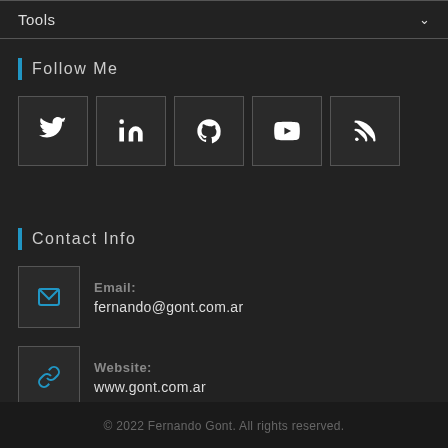Tools
Follow Me
[Figure (other): Row of 5 social media icon buttons: Twitter, LinkedIn, GitHub/Mastodon, YouTube, RSS]
Contact Info
Email: fernando@gont.com.ar
Website: www.gont.com.ar
© 2022 Fernando Gont. All rights reserved.